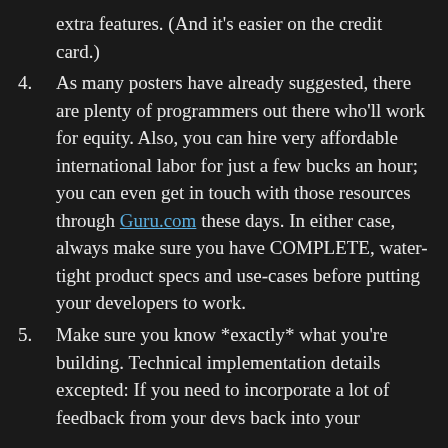extra features. (And it’s easier on the credit card.)
4. As many posters have already suggested, there are plenty of programmers out there who’ll work for equity. Also, you can hire very affordable international labor for just a few bucks an hour; you can even get in touch with those resources through Guru.com these days. In either case, always make sure you have COMPLETE, water-tight product specs and use-cases before putting your developers to work.
5. Make sure you know *exactly* what you’re building. Technical implementation details excepted: If you need to incorporate a lot of feedback from your devs back into your